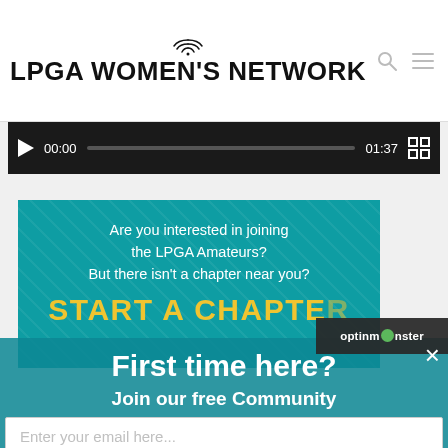LPGA WOMEN'S NETWORK
[Figure (screenshot): Video player bar showing play button, time 00:00, progress bar, time 01:37, and fullscreen button on dark background]
[Figure (infographic): Teal banner ad: 'Are you interested in joining the LPGA Amateurs? But there isn't a chapter near you? START A CHAPTER']
optinmonster
First time here?
Join our free Community
Enter your email here...
SUBSCIRBE